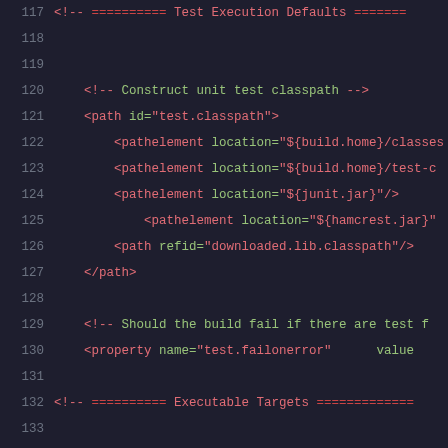117  <!-- ========== Test Execution Defaults =======
118
119
120      <!-- Construct unit test classpath -->
121      <path id="test.classpath">
122          <pathelement location="${build.home}/classes
123          <pathelement location="${build.home}/test-c
124          <pathelement location="${junit.jar}"/>
125              <pathelement location="${hamcrest.jar}"
126          <path refid="downloaded.lib.classpath"/>
127      </path>
128
129      <!-- Should the build fail if there are test f
130      <property name="test.failonerror"      value
131
132  <!-- ========== Executable Targets =============
133
134      <target name="clean" description="Clean build
135          <delete    dir="${build.home}"/>
136      </target>
137